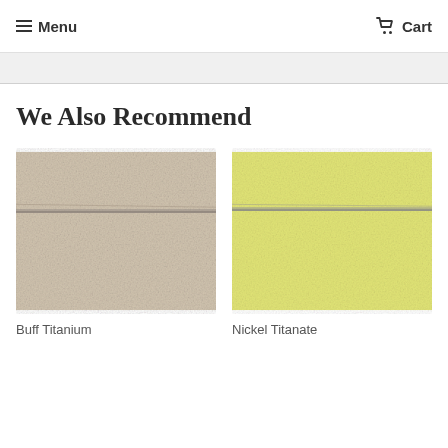Menu  Cart
We Also Recommend
[Figure (photo): Buff Titanium paint/pigment swatch showing beige/cream textured surface with a gray horizontal stripe]
Buff Titanium
[Figure (photo): Nickel Titanate paint/pigment swatch showing pale yellow textured surface with a gray horizontal stripe]
Nickel Titanate